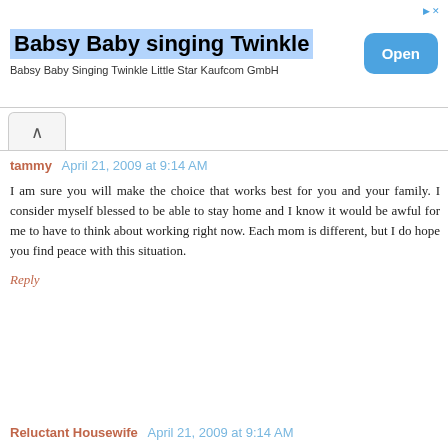[Figure (other): Advertisement banner for 'Babsy Baby singing Twinkle' app by Kaufcom GmbH with an 'Open' button]
tammy  April 21, 2009 at 9:14 AM

I am sure you will make the choice that works best for you and your family. I consider myself blessed to be able to stay home and I know it would be awful for me to have to think about working right now. Each mom is different, but I do hope you find peace with this situation.

Reply
Reluctant Housewife  April 21, 2009 at 9:14 AM

Such a hard balance - work and family. Good luck with everything.

Reply